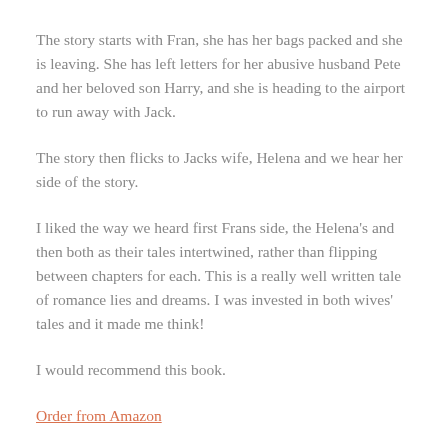The story starts with Fran, she has her bags packed and she is leaving. She has left letters for her abusive husband Pete and her beloved son Harry, and she is heading to the airport to run away with Jack.
The story then flicks to Jacks wife, Helena and we hear her side of the story.
I liked the way we heard first Frans side, the Helena's and then both as their tales intertwined, rather than flipping between chapters for each. This is a really well written tale of romance lies and dreams. I was invested in both wives' tales and it made me think!
I would recommend this book.
Order from Amazon